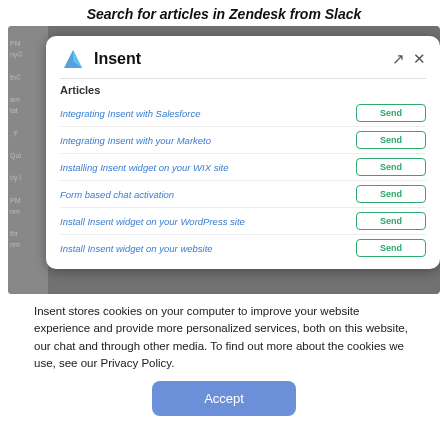Search for articles in Zendesk from Slack
[Figure (screenshot): Screenshot of a Slack/Insent integration modal showing a list of help articles with Send buttons. Articles listed: Integrating Insent with Salesforce, Integrating Insent with your Marketo, Installing Insent widget on your WIX site, Form based chat activation, Install Insent widget on your WordPress site, Install Insent widget on your website.]
Insent stores cookies on your computer to improve your website experience and provide more personalized services, both on this website, our chat and through other media. To find out more about the cookies we use, see our Privacy Policy.
Accept